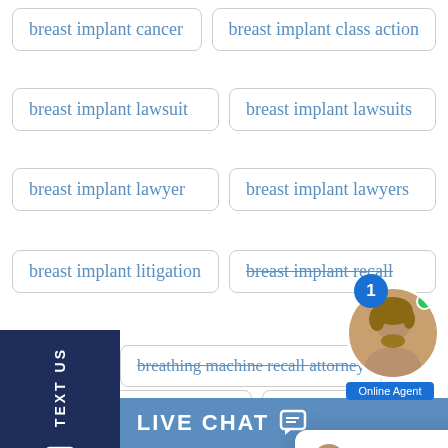breast implant cancer
breast implant class action
breast implant lawsuit
breast implant lawsuits
breast implant lawyer
breast implant lawyers
breast implant litigation
breast implant recall
breathing machine recall attorney
breathing machine recall lawyer
broccoli r...
broken defibrillator
broken filter
broken IV...
Mitchell
Welcome to Borgess Law, LLC! How can we help you?
TEXT US
LIVE CHAT
Online Agent
1